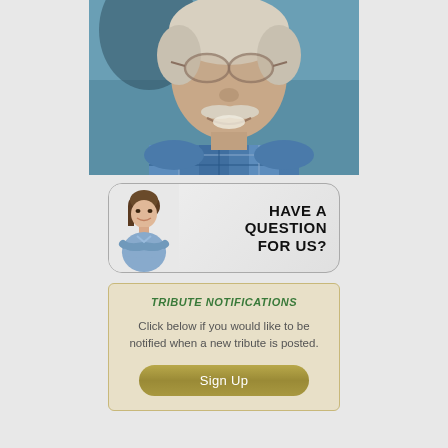[Figure (photo): Portrait photo of an elderly man with white hair, mustache, glasses, wearing a blue and white plaid shirt, smiling]
[Figure (infographic): Banner with a smiling woman in a blue shirt with arms crossed, text reading HAVE A QUESTION FOR US?]
TRIBUTE NOTIFICATIONS
Click below if you would like to be notified when a new tribute is posted.
Sign Up